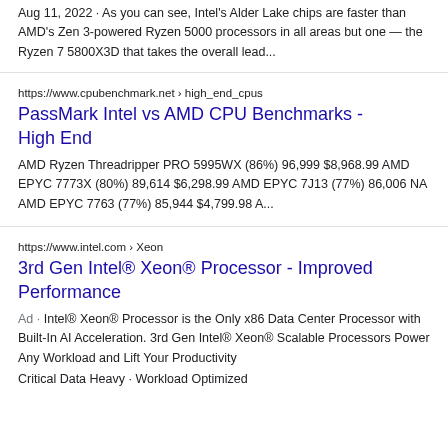Aug 11, 2022 · As you can see, Intel's Alder Lake chips are faster than AMD's Zen 3-powered Ryzen 5000 processors in all areas but one — the Ryzen 7 5800X3D that takes the overall lead...
https://www.cpubenchmark.net › high_end_cpus
PassMark Intel vs AMD CPU Benchmarks - High End
AMD Ryzen Threadripper PRO 5995WX (86%) 96,999 $8,968.99 AMD EPYC 7773X (80%) 89,614 $6,298.99 AMD EPYC 7J13 (77%) 86,006 NA AMD EPYC 7763 (77%) 85,944 $4,799.98 A...
https://www.intel.com › Xeon
3rd Gen Intel® Xeon® Processor - Improved Performance
Ad · Intel® Xeon® Processor is the Only x86 Data Center Processor with Built-In AI Acceleration. 3rd Gen Intel® Xeon® Scalable Processors Power Any Workload and Lift Your Productivity
Critical Data Heavy · Workload Optimized